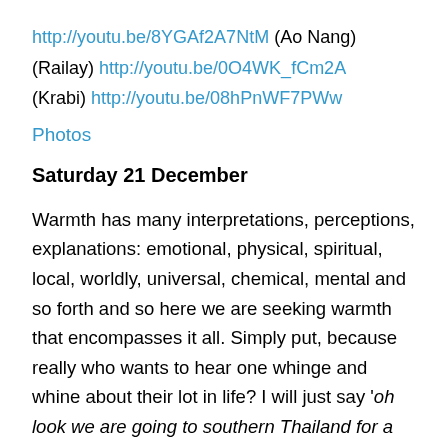http://youtu.be/8YGAf2A7NtM (Ao Nang) (Railay) http://youtu.be/0O4WK_fCm2A (Krabi) http://youtu.be/08hPnWF7PWw
Photos
Saturday 21 December
Warmth has many interpretations, perceptions, explanations: emotional, physical, spiritual, local, worldly, universal, chemical, mental and so forth and so here we are seeking warmth that encompasses it all. Simply put, because really who wants to hear one whinge and whine about their lot in life? I will just say '‘oh look we are going to southern Thailand for a three-week holiday to get warm’, who wants to know that when they can stay at home and watch the television and news shows showing the worst of